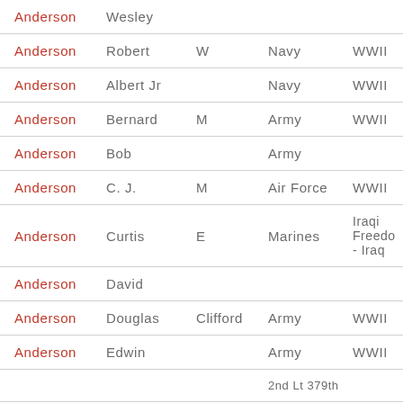| Last Name | First Name | Middle | Branch | Conflict |
| --- | --- | --- | --- | --- |
| Anderson | Wesley |  |  |  |
| Anderson | Robert | W | Navy | WWII |
| Anderson | Albert Jr |  | Navy | WWII |
| Anderson | Bernard | M | Army | WWII |
| Anderson | Bob |  | Army |  |
| Anderson | C. J. | M | Air Force | WWII |
| Anderson | Curtis | E | Marines | Iraqi Freedom - Iraq |
| Anderson | David |  |  |  |
| Anderson | Douglas | Clifford | Army | WWII |
| Anderson | Edwin |  | Army | WWII |
| Anderson |  |  |  | 2nd Lt 379th |